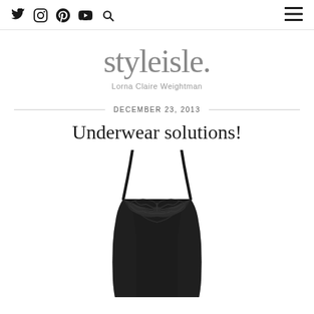styleisle. — navigation icons: Twitter, Instagram, Pinterest, YouTube, Search, Hamburger menu
styleisle.
Lorna Claire Weightman
DECEMBER 23, 2013
Underwear solutions!
[Figure (photo): Black bodysuit/shapewear with lace detail at the chest and thin shoulder straps, photographed against a white background]